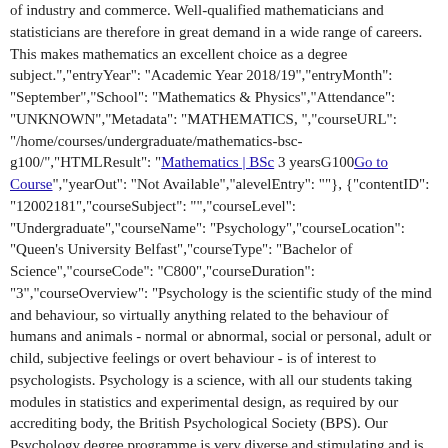of industry and commerce. Well-qualified mathematicians and statisticians are therefore in great demand in a wide range of careers. This makes mathematics an excellent choice as a degree subject.","entryYear": "Academic Year 2018/19","entryMonth": "September","School": "Mathematics & Physics","Attendance": "UNKNOWN","Metadata": "MATHEMATICS, ","courseURL": "/home/courses/undergraduate/mathematics-bsc-g100/","HTMLResult": "Mathematics | BSc 3 yearsG100Go to Course","yearOut": "Not Available","alevelEntry": ""}, {"contentID": "12002181","courseSubject": "","courseLevel": "Undergraduate","courseName": "Psychology","courseLocation": "Queen's University Belfast","courseType": "Bachelor of Science","courseCode": "C800","courseDuration": "3","courseOverview": "Psychology is the scientific study of the mind and behaviour, so virtually anything related to the behaviour of humans and animals - normal or abnormal, social or personal, adult or child, subjective feelings or overt behaviour - is of interest to psychologists. Psychology is a science, with all our students taking modules in statistics and experimental design, as required by our accrediting body, the British Psychological Society (BPS). Our Psychology degree programme is very diverse and stimulating and is consistently rated as 'excellent' by both our students and external examiners.","entryYear": "Academic Year 2018/19","entryMonth": "September","School": "Psychology","Attendance": "UNKNOWN","Metadata": "BEHAVIOUR, BRAIN, MIND, PSYCHOLOGY,","courseURL":